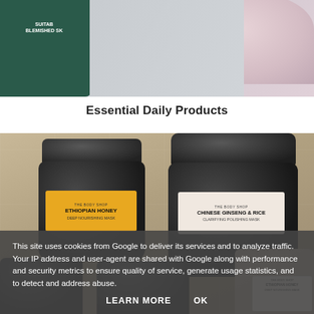[Figure (photo): Partial top view of skincare product jars including a dark green jar labeled 'Suitable for Blemished Skin' and a pink/rose jar, on a light grey-pink background]
Essential Daily Products
[Figure (photo): Photo of The Body Shop face mask jars on a tiled surface. Left: Ethiopian Honey Deep Nourishing Mask in a dark jar with yellow label. Right: Chinese Ginseng & Rice Clarifying Polishing Mask in a larger dark jar with cream label. Front row shows additional dark jars and a jar with cream label.]
This site uses cookies from Google to deliver its services and to analyze traffic. Your IP address and user-agent are shared with Google along with performance and security metrics to ensure quality of service, generate usage statistics, and to detect and address abuse.
LEARN MORE    OK